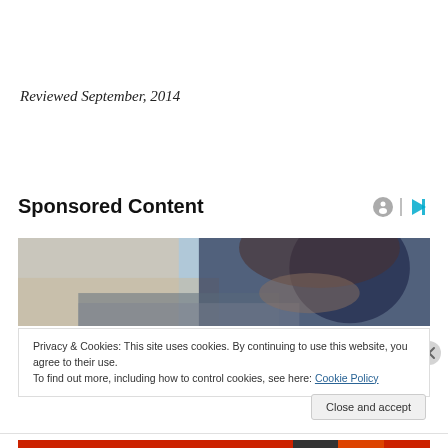Reviewed September, 2014
Sponsored Content
[Figure (photo): A person working at a laptop or desk, dark hair, wearing dark clothing, photographed from above/side angle in an office environment with boxes in background.]
Privacy & Cookies: This site uses cookies. By continuing to use this website, you agree to their use.
To find out more, including how to control cookies, see here: Cookie Policy
Close and accept